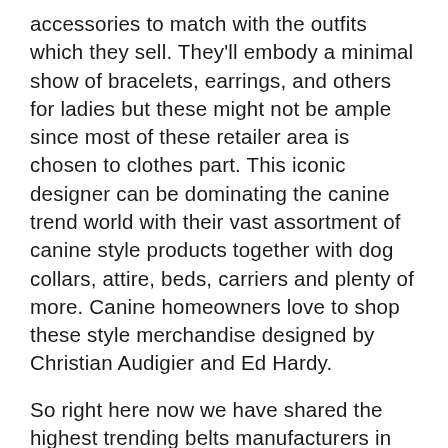accessories to match with the outfits which they sell. They'll embody a minimal show of bracelets, earrings, and others for ladies but these might not be ample since most of these retailer area is chosen to clothes part. This iconic designer can be dominating the canine trend world with their vast assortment of canine style products together with dog collars, attire, beds, carriers and plenty of more. Canine homeowners love to shop these style merchandise designed by Christian Audigier and Ed Hardy.
So right here now we have shared the highest trending belts manufacturers in India. There are lots of other famous manufacturers as well from which you can shop your favourite equipment or leather-based belt. The branded belts are the should-see the accessory in every wardrobe. There are many more but you will need to at all times verify